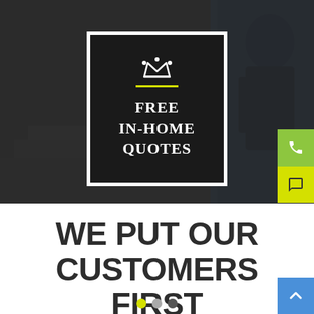[Figure (screenshot): Hero banner with dark overlay background showing a plumber/handyman scene. Center contains a bordered badge with crown icon, yellow line, and text 'FREE IN-HOME QUOTES'. Right side has green phone button and yellow chat button. Bottom white section shows large bold heading 'WE PUT OUR CUSTOMERS FIRST' with a blue scroll-to-top button and three dots navigation.]
WE PUT OUR CUSTOMERS FIRST